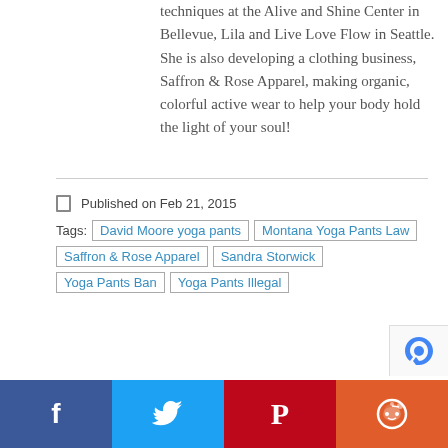techniques at the Alive and Shine Center in Bellevue, Lila and Live Love Flow in Seattle. She is also developing a clothing business, Saffron & Rose Apparel, making organic, colorful active wear to help your body hold the light of your soul!
Published on Feb 21, 2015
Tags: David Moore yoga pants | Montana Yoga Pants Law | Saffron & Rose Apparel | Sandra Storwick | Yoga Pants Ban | Yoga Pants Illegal
[Figure (other): Social sharing bar with Facebook, Twitter, Pinterest, and Reddit buttons]